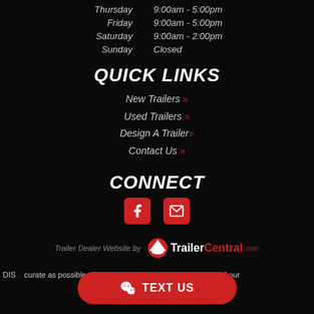Thursday   9:00am - 5:00pm
Friday   9:00am - 5:00pm
Saturday   9:00am - 2:00pm
Sunday   Closed
QUICK LINKS
New Trailers »
Used Trailers »
Design A Trailer »
Contact Us »
CONNECT
[Figure (other): Facebook icon and email icon in red rounded square boxes]
Trailer Dealer Website by TrailerCentral.com
DIS... curate as possible, Horse Pro Tra... ere is an error in any of our